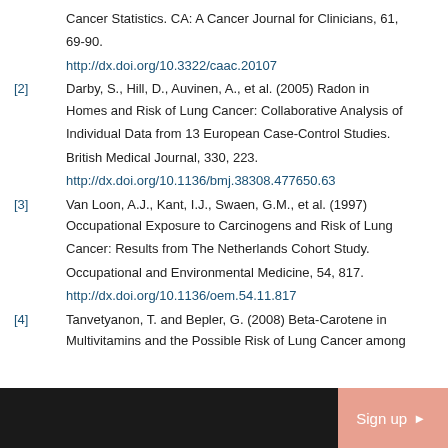Cancer Statistics. CA: A Cancer Journal for Clinicians, 61, 69-90. http://dx.doi.org/10.3322/caac.20107
[2] Darby, S., Hill, D., Auvinen, A., et al. (2005) Radon in Homes and Risk of Lung Cancer: Collaborative Analysis of Individual Data from 13 European Case-Control Studies. British Medical Journal, 330, 223. http://dx.doi.org/10.1136/bmj.38308.477650.63
[3] Van Loon, A.J., Kant, I.J., Swaen, G.M., et al. (1997) Occupational Exposure to Carcinogens and Risk of Lung Cancer: Results from The Netherlands Cohort Study. Occupational and Environmental Medicine, 54, 817. http://dx.doi.org/10.1136/oem.54.11.817
[4] Tanvetyanon, T. and Bepler, G. (2008) Beta-Carotene in Multivitamins and the Possible Risk of Lung Cancer among...
Sign up